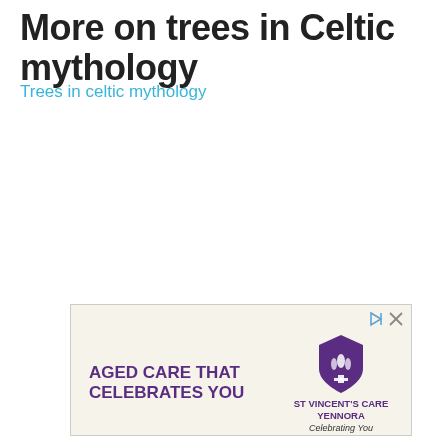More on trees in Celtic mythology
Trees in celtic mythology
[Figure (other): Advertisement banner for St Vincent's Care Yennora with text 'AGED CARE THAT CELEBRATES YOU' and the organization's logo with tagline 'Celebrating You']